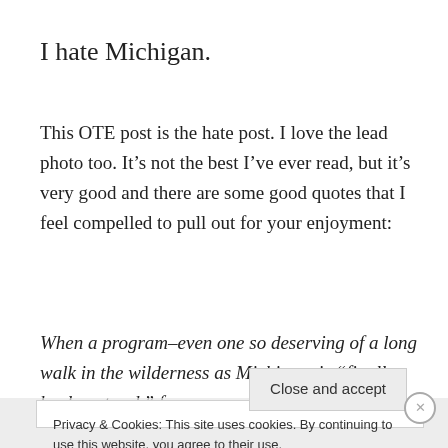I hate Michigan.
This OTE post is the hate post. I love the lead photo too. It’s not the best I’ve ever read, but it’s very good and there are some good quotes that I feel compelled to pull out for your enjoyment:
When a program–even one so deserving of a long walk in the wilderness as Michigan–is “finally back on track” for
Privacy & Cookies: This site uses cookies. By continuing to use this website, you agree to their use.
To find out more, including how to control cookies, see here: Cookie Policy
Close and accept